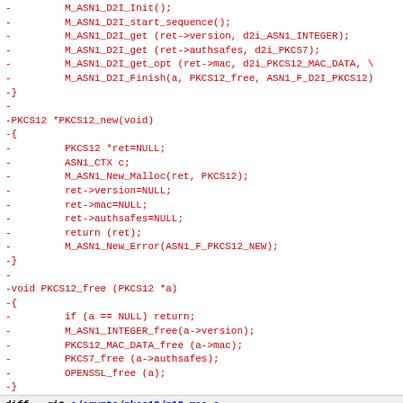- M_ASN1_D2I_Init();
- M_ASN1_D2I_start_sequence();
- M_ASN1_D2I_get (ret->version, d2i_ASN1_INTEGER);
- M_ASN1_D2I_get (ret->authsafes, d2i_PKCS7);
- M_ASN1_D2I_get_opt (ret->mac, d2i_PKCS12_MAC_DATA, \
- M_ASN1_D2I_Finish(a, PKCS12_free, ASN1_F_D2I_PKCS12)
-}
-
-PKCS12 *PKCS12_new(void)
-{
- PKCS12 *ret=NULL;
- ASN1_CTX c;
- M_ASN1_New_Malloc(ret, PKCS12);
- ret->version=NULL;
- ret->mac=NULL;
- ret->authsafes=NULL;
- return (ret);
- M_ASN1_New_Error(ASN1_F_PKCS12_NEW);
-}
-
-void PKCS12_free (PKCS12 *a)
-{
- if (a == NULL) return;
- M_ASN1_INTEGER_free(a->version);
- PKCS12_MAC_DATA_free (a->mac);
- PKCS7_free (a->authsafes);
- OPENSSL_free (a);
-}
diff --git a/crypto/pkcs12/p12_mac.c b/crypto/pkcs12/p12_mac.c
deleted file mode 100644 (file)